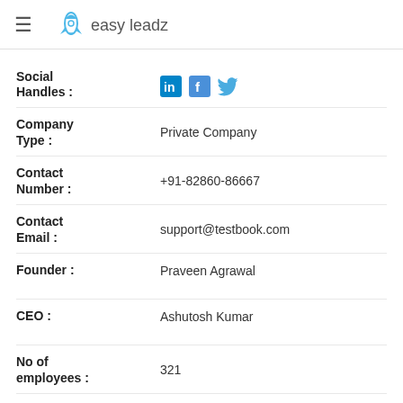easy leadz
Social Handles :
[Figure (logo): LinkedIn, Facebook, Twitter social media icons in blue]
Company Type : Private Company
Contact Number : +91-82860-86667
Contact Email : support@testbook.com
Founder : Praveen Agrawal
CEO : Ashutosh Kumar
No of employees : 321
Founded : 2013
Revenue : $5M